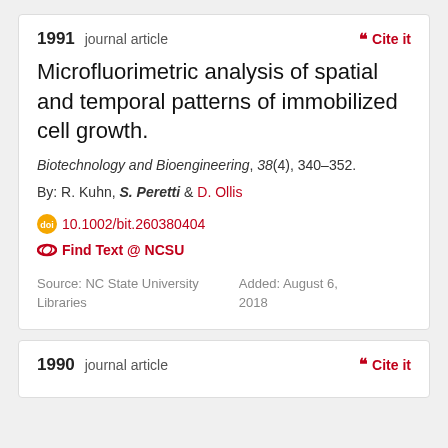1991 journal article
Cite it
Microfluorimetric analysis of spatial and temporal patterns of immobilized cell growth.
Biotechnology and Bioengineering, 38(4), 340–352.
By: R. Kuhn, S. Peretti & D. Ollis
10.1002/bit.260380404
Find Text @ NCSU
Source: NC State University Libraries
Added: August 6, 2018
1990 journal article
Cite it